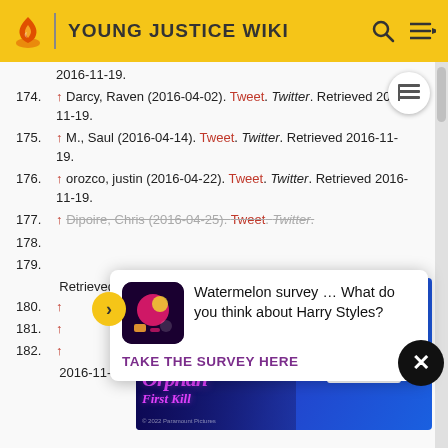YOUNG JUSTICE WIKI
174. ↑ Darcy, Raven (2016-04-02). Tweet. Twitter. Retrieved 2016-11-19.
175. ↑ M., Saul (2016-04-14). Tweet. Twitter. Retrieved 2016-11-19.
176. ↑ orozco, justin (2016-04-22). Tweet. Twitter. Retrieved 2016-11-19.
177. ↑ Dipoire, Chris (2016-04-25). Tweet. Twitter...
178. ...Retrieved 2016-11-19.
179. ...
180. ...Retrieved 2016-11-19.
181. ...
182. ...2016-11-19.
[Figure (infographic): Watermelon survey popup ad asking what the user thinks about Harry Styles, with TAKE THE SURVEY HERE call to action]
[Figure (infographic): Paramount+ movie advertisement for Orphan First Kill, streaming on Paramount+, Try It Free]